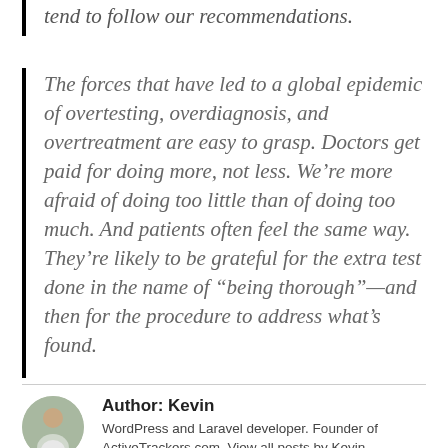tend to follow our recommendations.
The forces that have led to a global epidemic of overtesting, overdiagnosis, and overtreatment are easy to grasp. Doctors get paid for doing more, not less. We’re more afraid of doing too little than of doing too much. And patients often feel the same way. They’re likely to be grateful for the extra test done in the name of “being thorough”—and then for the procedure to address what’s found.
Author: Kevin
WordPress and Laravel developer. Founder of ActiveTrackers.com. View all posts by Kevin